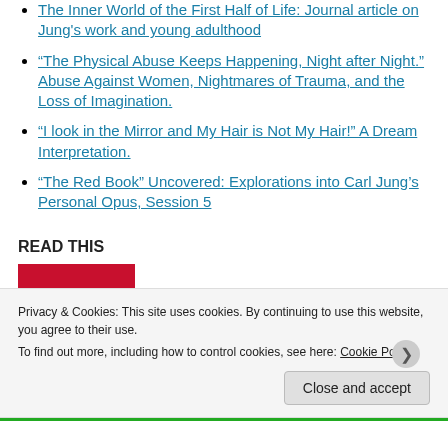The Inner World of the First Half of Life: Journal article on Jung's work and young adulthood
“The Physical Abuse Keeps Happening, Night after Night.” Abuse Against Women, Nightmares of Trauma, and the Loss of Imagination.
“I look in the Mirror and My Hair is Not My Hair!” A Dream Interpretation.
“The Red Book” Uncovered: Explorations into Carl Jung’s Personal Opus, Session 5
READ THIS
[Figure (photo): Red book cover with gold text reading THE]
Privacy & Cookies: This site uses cookies. By continuing to use this website, you agree to their use. To find out more, including how to control cookies, see here: Cookie Policy
Close and accept